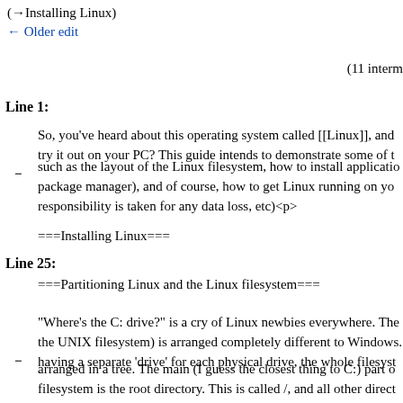(→Installing Linux)
← Older edit
(11 interm
Line 1:
So, you've heard about this operating system called [[Linux]], and try it out on your PC? This guide intends to demonstrate some of t such as the layout of the Linux filesystem, how to install applicatio package manager), and of course, how to get Linux running on yo responsibility is taken for any data loss, etc)<p>
===Installing Linux===
Line 25:
===Partitioning Linux and the Linux filesystem===
"Where's the C: drive?" is a cry of Linux newbies everywhere. The the UNIX filesystem) is arranged completely different to Windows. having a separate 'drive' for each physical drive, the whole filesyst arranged in a tree. The main (I guess the closest thing to C:) part o filesystem is the root directory. This is called /, and all other direct under this. Extra physical drives will be mounted (made so Linux them) through other directories (like /media/cdrom or /movies).<p
These directories have their own functions, as do the "Program Fi